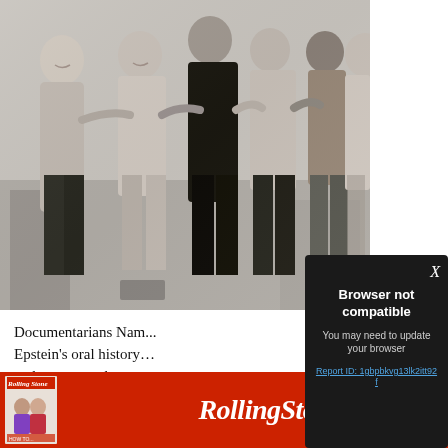[Figure (photo): Black and white photograph of a group of people (men and women) standing together outdoors, smiling, with an urban background visible]
Documentarians Na... Epstein's oral history... and women a chance... participants share the...
[Figure (screenshot): Browser compatibility error modal overlay with dark background. Title: 'Browser not compatible'. Subtitle: 'You may need to update your browser'. Link: 'Report ID: 1gbpbkvg13lk2itt92f'. Close button 'X' in top right.]
[Figure (photo): Rolling Stone magazine advertisement banner with red background showing the Rolling Stone logo in white italic text, and a small magazine cover image on the left]